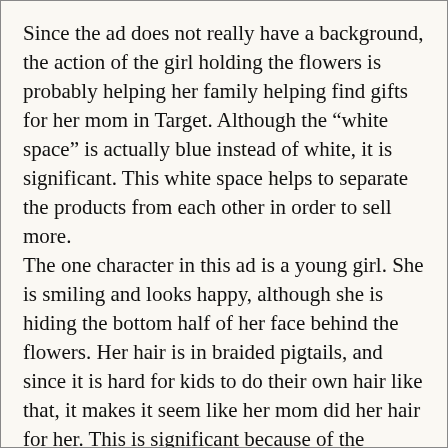Since the ad does not really have a background, the action of the girl holding the flowers is probably helping her family helping find gifts for her mom in Target. Although the “white space” is actually blue instead of white, it is significant. This white space helps to separate the products from each other in order to sell more. The one character in this ad is a young girl. She is smiling and looks happy, although she is hiding the bottom half of her face behind the flowers. Her hair is in braided pigtails, and since it is hard for kids to do their own hair like that, it makes it seem like her mom did her hair for her. This is significant because of the purpose of the ad. She looks like any average girl with a mom, and that appeals to other